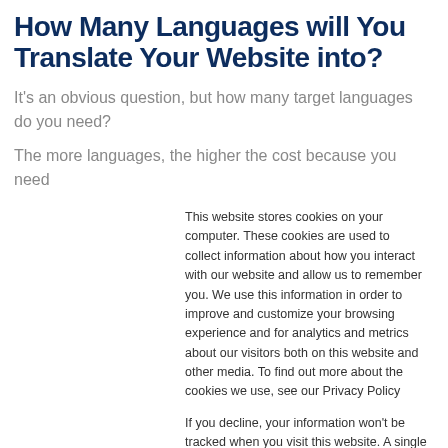How Many Languages will You Translate Your Website into?
It's an obvious question, but how many target languages do you need?
The more languages, the higher the cost because you need
This website stores cookies on your computer. These cookies are used to collect information about how you interact with our website and allow us to remember you. We use this information in order to improve and customize your browsing experience and for analytics and metrics about our visitors both on this website and other media. To find out more about the cookies we use, see our Privacy Policy

If you decline, your information won't be tracked when you visit this website. A single cookie will be used in your browser to remember your preference not to be tracked.